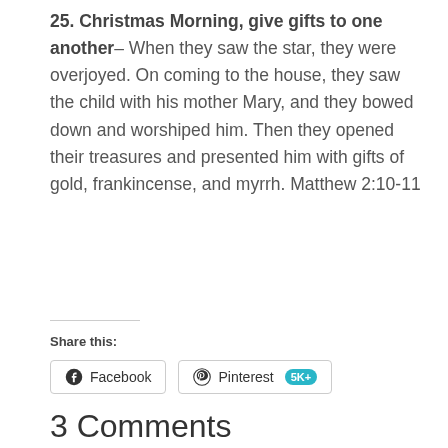25. Christmas Morning, give gifts to one another– When they saw the star, they were overjoyed. On coming to the house, they saw the child with his mother Mary, and they bowed down and worshiped him. Then they opened their treasures and presented him with gifts of gold, frankincense, and myrrh. Matthew 2:10-11
Share this:
Facebook | Pinterest 5K+
3 Comments